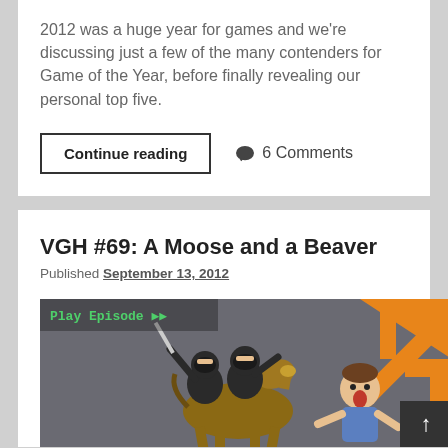2012 was a huge year for games and we're discussing just a few of the many contenders for Game of the Year, before finally revealing our personal top five.
Continue reading
💬 6 Comments
VGH #69: A Moose and a Beaver
Published September 13, 2012
[Figure (illustration): Episode thumbnail showing cartoon ninjas on horseback chasing a frightened person, with orange geometric shapes on a grey background. Green 'Play Episode' text with double arrow icon in top left.]